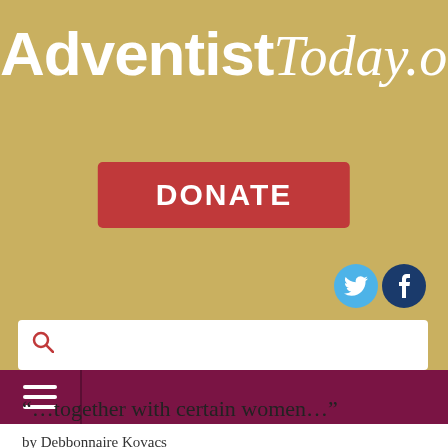[Figure (logo): AdventistToday.org website logo with bold white text on gold background]
[Figure (other): Red DONATE button]
[Figure (other): Twitter and Facebook social media icon circles]
[Figure (other): Search bar with magnifying glass icon]
[Figure (other): Maroon navigation bar with hamburger menu icon]
“…together with certain women…”
by Debbonnaire Kovacs